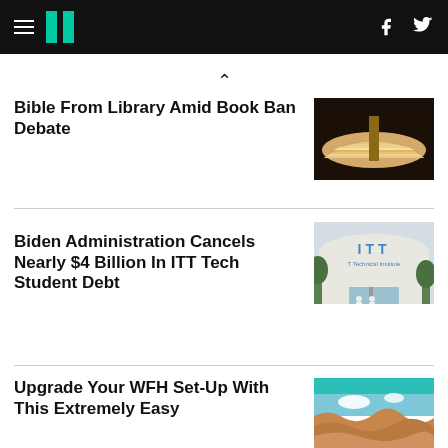HuffPost navigation header with hamburger menu, logo, Facebook and Twitter icons
Bible From Library Amid Book Ban Debate
[Figure (photo): Photo of an open book with pages fanning]
Biden Administration Cancels Nearly $4 Billion In ITT Tech Student Debt
[Figure (photo): Photo of ITT Technical Institute building exterior with two people standing outside]
Upgrade Your WFH Set-Up With This Extremely Easy
[Figure (photo): Photo of colorful landscape with blue sky, teal top portion visible]